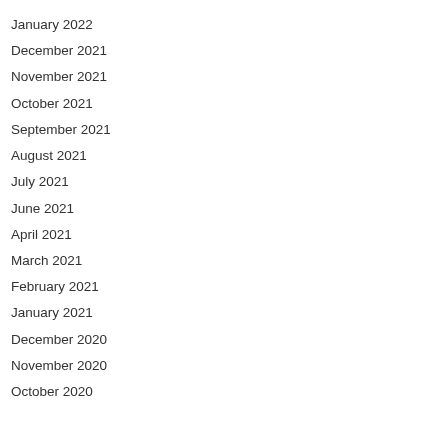January 2022
December 2021
November 2021
October 2021
September 2021
August 2021
July 2021
June 2021
April 2021
March 2021
February 2021
January 2021
December 2020
November 2020
October 2020